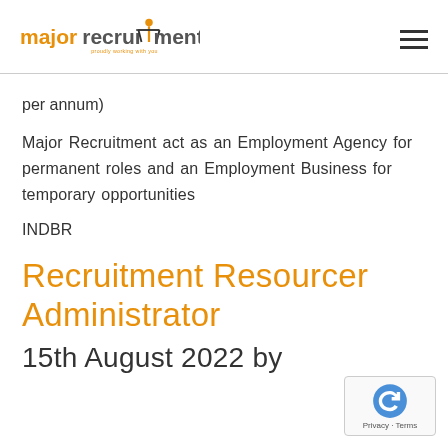major recruitment - proudly working with you
per annum)
Major Recruitment act as an Employment Agency for permanent roles and an Employment Business for temporary opportunities
INDBR
Recruitment Resourcer Administrator
15th August 2022 by